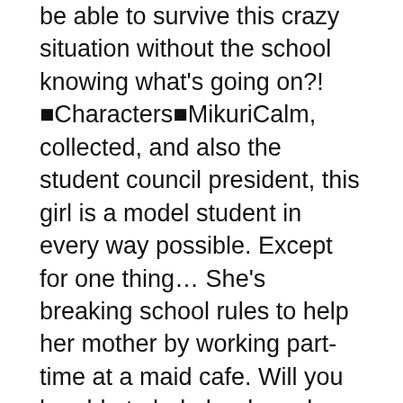be able to survive this crazy situation without the school knowing what's going on?!■Characters■MikuriCalm, collected, and also the student council president, this girl is a model student in every way possible. Except for one thing… She's breaking school rules to help her mother by working part-time at a maid cafe. Will you be able to help her keep her secret? YoshimiYou've been friends with Yoshimi forever and you've never really seen her as more than just a friend. But when she starts working at a maid cafe with some awfully cute outfits… Will your opinion of her change? AtsukoAtsuko is the manager of your school soccer club and a favorite of the team. This petit, yet energetic girl is the talk of all of your teammates. What could a girl like her be doing working at a maid cafe…?
2▷Royal Battletown Mod Royal Battletown Mod APK 3.7.5 Features:Easy controls and addictive gameplay - a small guide will help you find a way for your first gold coins!Modern graphics and support for older devices - get the best game experience in